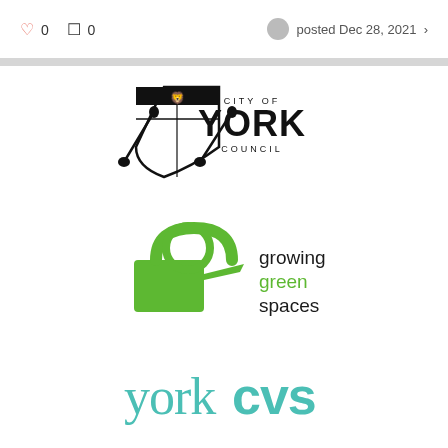♡ 0  ☐ 0   posted Dec 28, 2021 >
[Figure (logo): City of York Council logo with heraldic shield and crossed tools]
[Figure (logo): Growing Green Spaces logo with green watering can and text]
[Figure (logo): York CVS logo in teal/mint color]